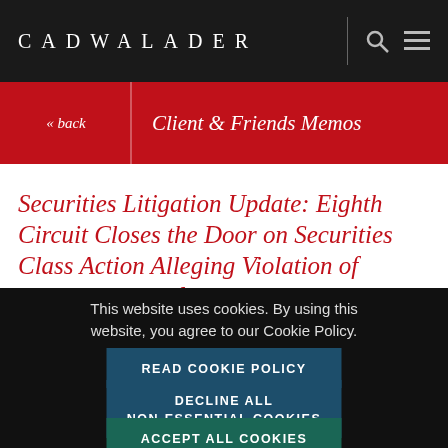CADWALADER
« back | Client & Friends Memos
Securities Litigation Update: Eighth Circuit Closes the Door on Securities Class Action Alleging Violation of Broker's Duty of Best
This website uses cookies. By using this website, you agree to our Cookie Policy.
READ COOKIE POLICY
DECLINE ALL NON-ESSENTIAL COOKIES
ACCEPT ALL COOKIES